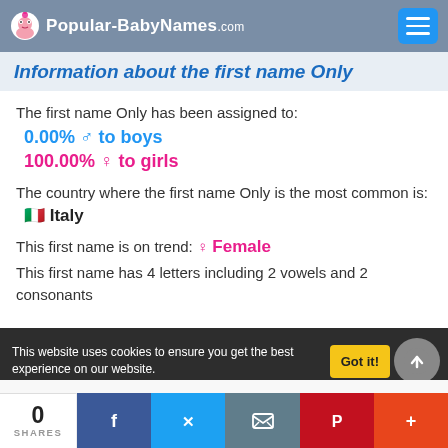Popular-BabyNames.com
Information about the first name Only
The first name Only has been assigned to:
0.00% ♂ to boys
100.00% ♀ to girls
The country where the first name Only is the most common is:
🇮🇹 Italy
This first name is on trend: ♀ Female
This first name has 4 letters including 2 vowels and 2 consonants
0 SHARES | Facebook | Twitter | Email | Pinterest | More